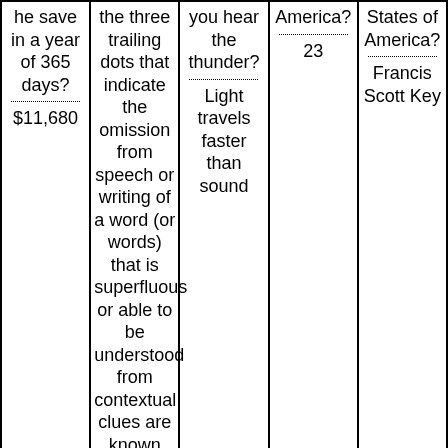| he save in a year of 365 days?
$11,680 | the three trailing dots that indicate the omission from speech or writing of a word (or words) that is superfluous or able to be understood from contextual clues are known as…?
An ellipsis | you hear the thunder?
Light travels faster than sound | America?
23 | States of America?
Francis Scott Key |